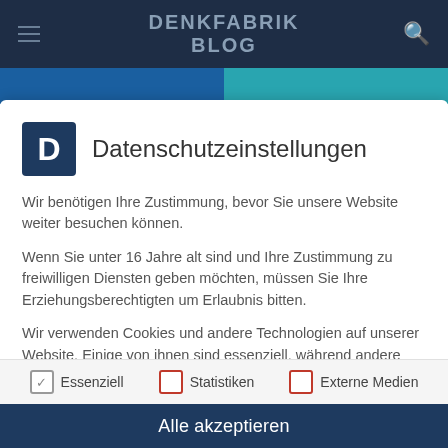DENKFABRIK BLOG
[Figure (screenshot): Teaser image strip with two partially visible article thumbnails in blue tones]
Datenschutzeinstellungen
Wir benötigen Ihre Zustimmung, bevor Sie unsere Website weiter besuchen können.
Wenn Sie unter 16 Jahre alt sind und Ihre Zustimmung zu freiwilligen Diensten geben möchten, müssen Sie Ihre Erziehungsberechtigten um Erlaubnis bitten.
Wir verwenden Cookies und andere Technologien auf unserer Website. Einige von ihnen sind essenziell, während andere uns helfen, diese Website und Ihre Erfahrung zu verbessern. Personenbezogene Daten können verarbeitet werden (z. B. IP-Adressen), z. B. für personalisierte Anzeigen und Inhalte oder Anzeigen- und Inhaltsmessung. Weitere Informationen über die
Essenziell
Statistiken
Externe Medien
Alle akzeptieren